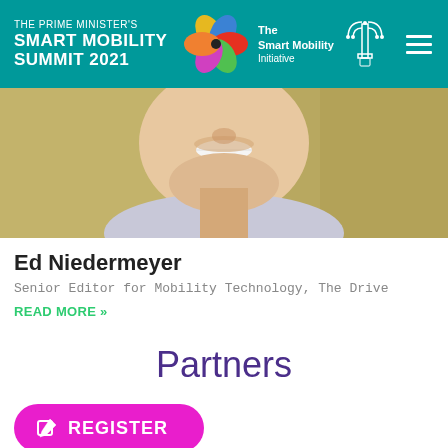[Figure (logo): The Prime Minister's Smart Mobility Summit 2021 header with teal background, pinwheel logo, The Smart Mobility Initiative text, menorah emblem, and hamburger menu]
[Figure (photo): Cropped photo of a man (Ed Niedermeyer) showing lower face and neck, smiling, wearing a collared shirt]
Ed Niedermeyer
Senior Editor for Mobility Technology, The Drive
READ MORE »
Partners
[Figure (other): Magenta REGISTER button with edit/pencil icon]
[Figure (logo): Partner logos row at bottom including menorah emblem and other partner logos]